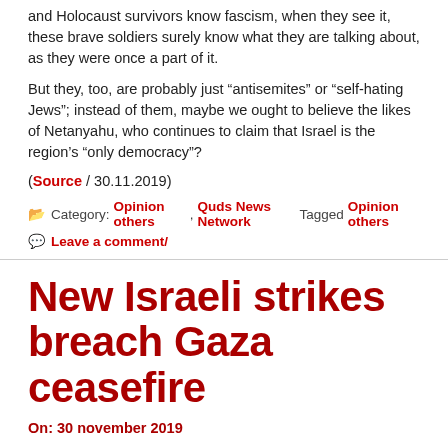and Holocaust survivors know fascism, when they see it, these brave soldiers surely know what they are talking about, as they were once a part of it.
But they, too, are probably just “antisemites” or “self-hating Jews”; instead of them, maybe we ought to believe the likes of Netanyahu, who continues to claim that Israel is the region’s “only democracy”?
(Source / 30.11.2019)
Category: Opinion others , Quds News Network Tagged Opinion others
Leave a comment/
New Israeli strikes breach Gaza ceasefire
On: 30 november 2019
Gaza (QNN)- The Israeli occupation army announced that it struck several resistance sites in northern Gaza on Saturday.
Spokesperson for the Israeli army claimed that “the [Israeli] aircraft last night attacked Hamas targets in northern Gaza, including a military complex”.